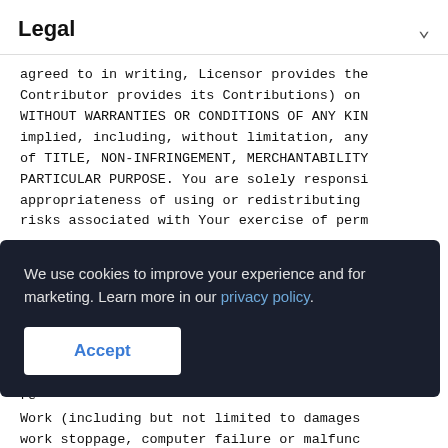Legal
agreed to in writing, Licensor provides the
Contributor provides its Contributions) on
WITHOUT WARRANTIES OR CONDITIONS OF ANY KIN
implied, including, without limitation, any
of TITLE, NON-INFRINGEMENT, MERCHANTABILITY
PARTICULAR PURPOSE. You are solely responsi
appropriateness of using or redistributing
risks associated with Your exercise of perm
8. Limitation of Liability. In no event and
We use cookies to improve your experience and for marketing. Learn more in our privacy policy.
Accept
Work (including but not limited to damages
work stoppage, computer failure or malfunc